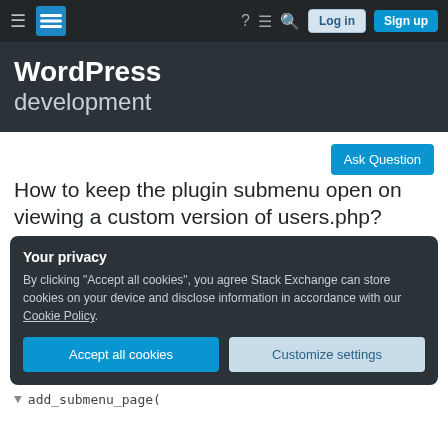WordPress development — Stack Exchange navigation bar with Log in and Sign up buttons
WordPress development
Ask Question
How to keep the plugin submenu open on viewing a custom version of users.php?
Your privacy
By clicking "Accept all cookies", you agree Stack Exchange can store cookies on your device and disclose information in accordance with our Cookie Policy.
Accept all cookies
Customize settings
add_submenu_page(